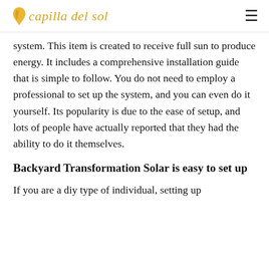capilla del sol
system. This item is created to receive full sun to produce energy. It includes a comprehensive installation guide that is simple to follow. You do not need to employ a professional to set up the system, and you can even do it yourself. Its popularity is due to the ease of setup, and lots of people have actually reported that they had the ability to do it themselves.
Backyard Transformation Solar is easy to set up
If you are a diy type of individual, setting up